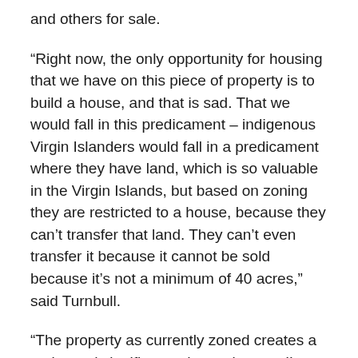and others for sale.
“Right now, the only opportunity for housing that we have on this piece of property is to build a house, and that is sad. That we would fall in this predicament – indigenous Virgin Islanders would fall in a predicament where they have land, which is so valuable in the Virgin Islands, but based on zoning they are restricted to a house, because they can’t transfer that land. They can’t even transfer it because it cannot be sold because it’s not a minimum of 40 acres,” said Turnbull.
“The property as currently zoned creates a major and significant adverse impact. I’m not blaming the government, but the government added to that by taking away even from that which this family had, for a public purpose, which is understood. We think that maybe back then the government